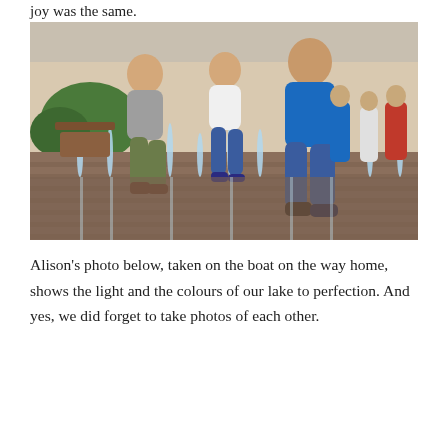joy was the same.
[Figure (photo): Three children running and jumping through water fountain jets on a brick plaza. Adults and outdoor cafe seating visible in the background. Two boys and a girl playing in the water.]
Alison's photo below, taken on the boat on the way home, shows the light and the colours of our lake to perfection. And yes, we did forget to take photos of each other.